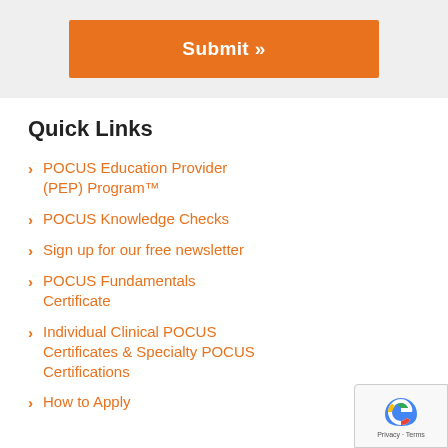[Figure (other): Orange Submit button in a gray background section]
Quick Links
POCUS Education Provider (PEP) Program™
POCUS Knowledge Checks
Sign up for our free newsletter
POCUS Fundamentals Certificate
Individual Clinical POCUS Certificates & Specialty POCUS Certifications
How to Apply